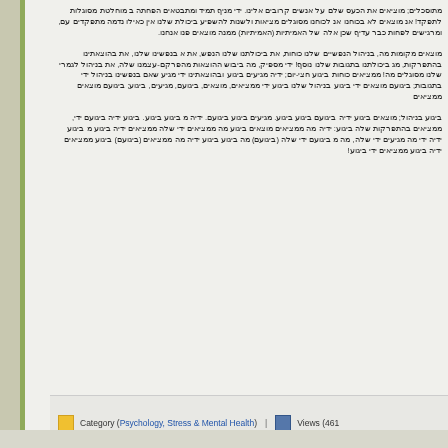Hebrew/Arabic script paragraph 1 - blog article text in RTL language
Hebrew/Arabic script paragraph 2 - blog article text in RTL language
Hebrew/Arabic script paragraph 3 - blog article text in RTL language
Category (Psychology, Stress & Mental Health) | Views (461